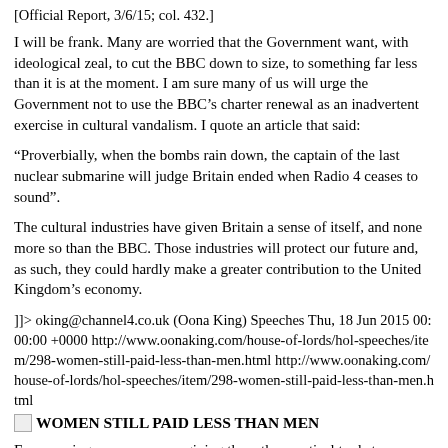[Official Report, 3/6/15; col. 432.]
I will be frank. Many are worried that the Government want, with ideological zeal, to cut the BBC down to size, to something far less than it is at the moment. I am sure many of us will urge the Government not to use the BBC’s charter renewal as an inadvertent exercise in cultural vandalism. I quote an article that said:
“Proverbially, when the bombs rain down, the captain of the last nuclear submarine will judge Britain ended when Radio 4 ceases to sound”.
The cultural industries have given Britain a sense of itself, and none more so than the BBC. Those industries will protect our future and, as such, they could hardly make a greater contribution to the United Kingdom’s economy.
]]> oking@channel4.co.uk (Oona King) Speeches Thu, 18 Jun 2015 00:00:00 +0000 http://www.oonaking.com/house-of-lords/hol-speeches/item/298-women-still-paid-less-than-men.html http://www.oonaking.com/house-of-lords/hol-speeches/item/298-women-still-paid-less-than-men.html
[Figure (illustration): Broken image icon followed by bold text: WOMEN STILL PAID LESS THAN MEN]
Empowering women means giving them the practical tools to escape poverty and prejudice. Around the world, including here in